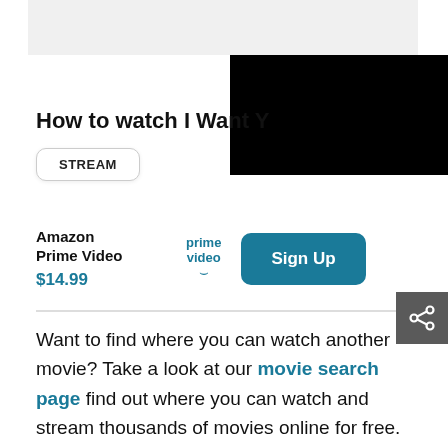[Figure (screenshot): Gray banner area at top of page]
[Figure (screenshot): Black rectangle covering top-right area (video or image placeholder)]
How to watch I Want Y...
STREAM
Amazon Prime Video $14.99
[Figure (logo): Amazon Prime Video logo with teal text and arrow]
Sign Up
[Figure (other): Share icon button (gray background)]
Want to find where you can watch another movie? Take a look at our movie search page find out where you can watch and stream thousands of movies online for free.